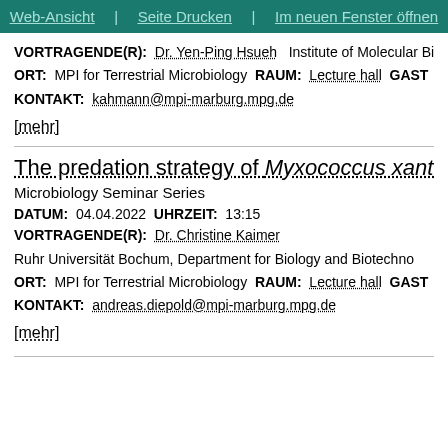Web-Ansicht | Seite Drucken | Im neuen Fenster öffnen
VORTRAGENDE(R): Dr. Yen-Ping Hsueh  Institute of Molecular Bio
ORT: MPI for Terrestrial Microbiology  RAUM: Lecture hall  GAST
KONTAKT: kahmann@mpi-marburg.mpg.de
[mehr]
The predation strategy of Myxococcus xanthus
Microbiology Seminar Series
DATUM: 04.04.2022  UHRZEIT: 13:15
VORTRAGENDE(R): Dr. Christine Kaimer
Ruhr Universität Bochum, Department for Biology and Biotechno
ORT: MPI for Terrestrial Microbiology  RAUM: Lecture hall  GAST
KONTAKT: andreas.diepold@mpi-marburg.mpg.de
[mehr]